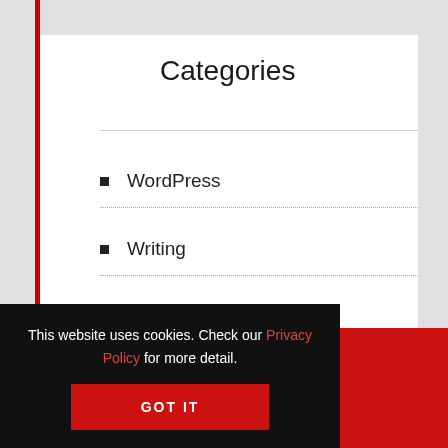Categories
WordPress
Writing
News
WordPress Themes
This website uses cookies. Check our Privacy Policy for more detail.
GOT IT